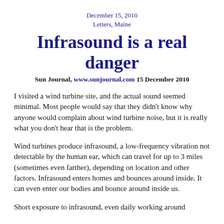December 15, 2010
Letters, Maine
Infrasound is a real danger
Sun Journal, www.sunjournal.com 15 December 2010
I visited a wind turbine site, and the actual sound seemed minimal. Most people would say that they didn't know why anyone would complain about wind turbine noise, but it is really what you don't hear that is the problem.
Wind turbines produce infrasound, a low-frequency vibration not detectable by the human ear, which can travel for up to 3 miles (sometimes even farther), depending on location and other factors. Infrasound enters homes and bounces around inside. It can even enter our bodies and bounce around inside us.
Short exposure to infrasound, even daily working around